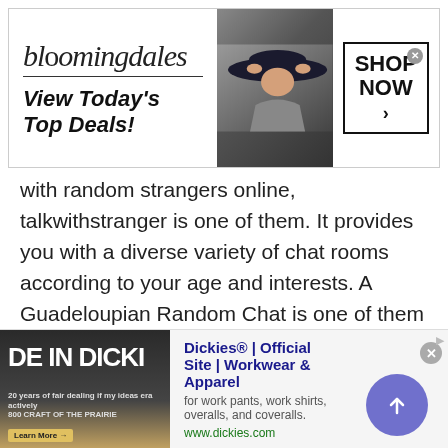[Figure (screenshot): Bloomingdale's advertisement banner with logo, model in hat, and 'SHOP NOW >' call-to-action button]
with random strangers online, talkwithstranger is one of them. It provides you with a diverse variety of chat rooms according to your age and interests. A Guadeloupian Random Chat is one of them where you can find random strangers and talk to them in a safe environment.
Pass leisure time with fun
[Figure (screenshot): Dickies® advertisement banner with 'DE IN DICKI' image on left and text: Dickies® | Official Site | Workwear & Apparel, for work pants, work shirts, overalls, and coveralls. www.dickies.com, with a circular arrow button on right]